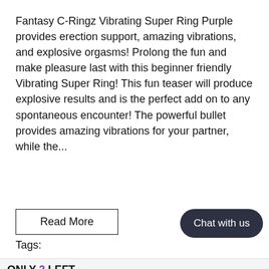Fantasy C-Ringz Vibrating Super Ring Purple provides erection support, amazing vibrations, and explosive orgasms! Prolong the fun and make pleasure last with this beginner friendly Vibrating Super Ring! This fun teaser will produce explosive results and is the perfect add on to any spontaneous encounter! The powerful bullet provides amazing vibrations for your partner, while the...
Read More
Tags:
ONLY 2 LEFT
ADD TO CART
Buy with amazon pay
Chat with us
Someone purchased a